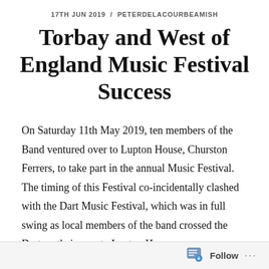17TH JUN 2019 / PETERDELACOURBEAMISH
Torbay and West of England Music Festival Success
On Saturday 11th May 2019, ten members of the Band ventured over to Lupton House, Churston Ferrers, to take part in the annual Music Festival. The timing of this Festival co-incidentally clashed with the Dart Music Festival, which was in full swing as local members of the band crossed the Dart on their way to Lupton House
Follow